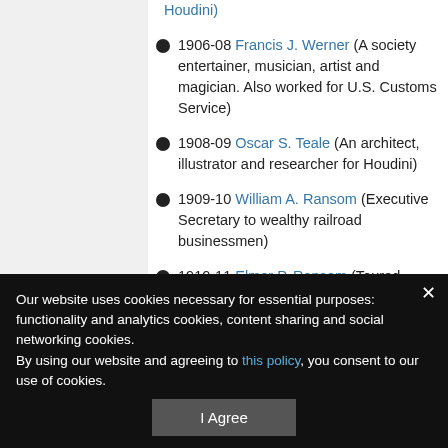Houdini)
1906-08 Francis J. Werner (A society entertainer, musician, artist and magician. Also worked for U.S. Customs Service)
1908-09 Oscar S. Teale (An architect, illustrator and researcher for Houdini)
1909-10 William A. Ransom (Executive Secretary to wealthy railroad businessmen)
1910-11 Elmer P. Ransom (Toured America with own show before becoming one of New York's top
Our website uses cookies necessary for essential purposes: functionality and analytics cookies, content sharing and social networking cookies. By using our website and agreeing to this policy, you consent to our use of cookies.